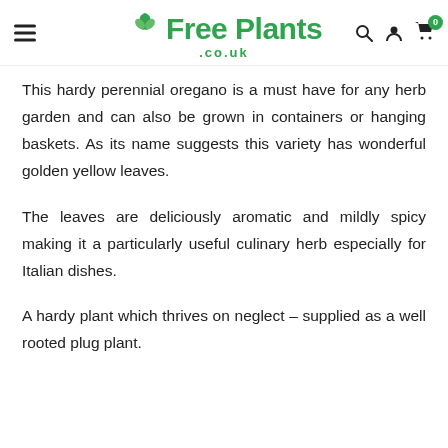Free Plants .co.uk
This hardy perennial oregano is a must have for any herb garden and can also be grown in containers or hanging baskets. As its name suggests this variety has wonderful golden yellow leaves.
The leaves are deliciously aromatic and mildly spicy making it a particularly useful culinary herb especially for Italian dishes.
A hardy plant which thrives on neglect – supplied as a well rooted plug plant.